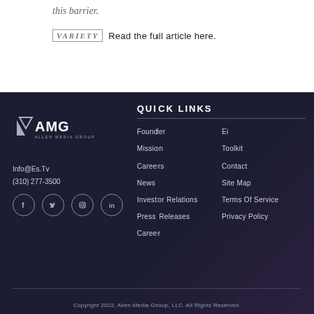this barrier.
VARIETY   Read the full article here.
[Figure (logo): Allen Media Group (AMG) logo in white on dark background]
Info@Es.Tv
(310) 277-3500
[Figure (illustration): Social media icons: Facebook, Twitter, Instagram, LinkedIn]
QUICK LINKS
Founder
Ei
Mission
Toolkit
Careers
Contact
News
Site Map
Investor Relations
Terms Of Service
Press Releases
Privacy Policy
Career
Copyright 2022, Allen Media Group, LLC. All Rights Reserved.